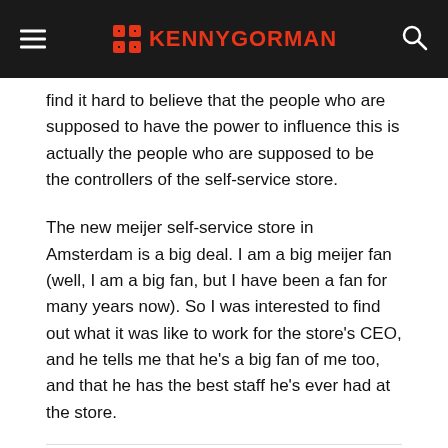KENNYGORMAN
find it hard to believe that the people who are supposed to have the power to influence this is actually the people who are supposed to be the controllers of the self-service store.
The new meijer self-service store in Amsterdam is a big deal. I am a big meijer fan (well, I am a big fan, but I have been a fan for many years now). So I was interested to find out what it was like to work for the store's CEO, and he tells me that he's a big fan of me too, and that he has the best staff he's ever had at the store.